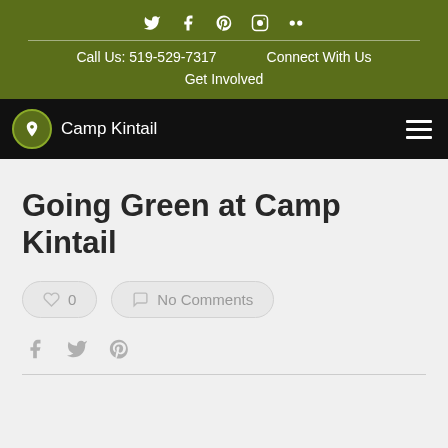Social icons: Twitter, Facebook, Pinterest, Instagram, Flickr | Call Us: 519-529-7317 | Connect With Us | Get Involved
[Figure (logo): Camp Kintail logo with green circle icon and site name in white on black navigation bar]
Going Green at Camp Kintail
0 | No Comments
[Figure (infographic): Share icons: Facebook, Twitter, Pinterest]